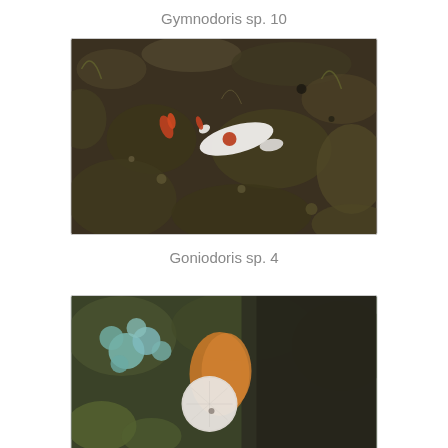Gymnodoris sp. 10
[Figure (photo): Underwater photograph of a white nudibranch (Gymnodoris sp. 10) with orange/red accents crawling on a dark rocky substrate covered with algae and encrusting organisms]
Goniodoris sp. 4
[Figure (photo): Underwater photograph of a nudibranch (Goniodoris sp. 4) with a rounded white gill plume and orange body, on a rocky reef substrate with green and brown algae]